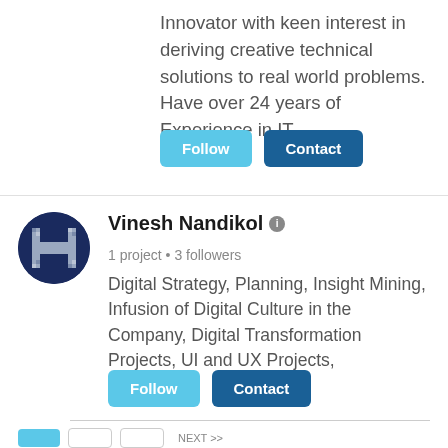Innovator with keen interest in deriving creative technical solutions to real world problems. Have over 24 years of Experience in IT
[Figure (screenshot): Follow and Contact buttons for first profile]
[Figure (logo): Circular avatar icon with a stylized H logo in grey on dark navy background for Vinesh Nandikol]
Vinesh Nandikol
1 project • 3 followers
Digital Strategy, Planning, Insight Mining, Infusion of Digital Culture in the Company, Digital Transformation Projects, UI and UX Projects,
[Figure (screenshot): Follow and Contact buttons for Vinesh Nandikol profile]